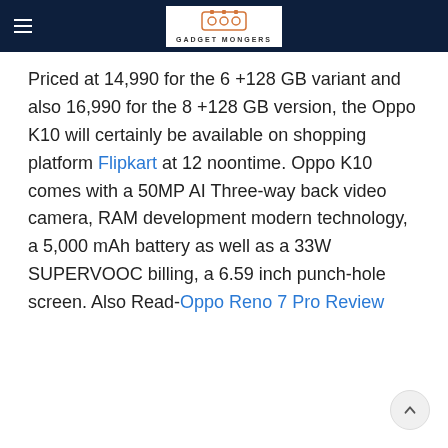GADGET MONGERS
Priced at 14,990 for the 6 +128 GB variant and also 16,990 for the 8 +128 GB version, the Oppo K10 will certainly be available on shopping platform Flipkart at 12 noontime. Oppo K10 comes with a 50MP AI Three-way back video camera, RAM development modern technology, a 5,000 mAh battery as well as a 33W SUPERVOOC billing, a 6.59 inch punch-hole screen. Also Read-Oppo Reno 7 Pro Review